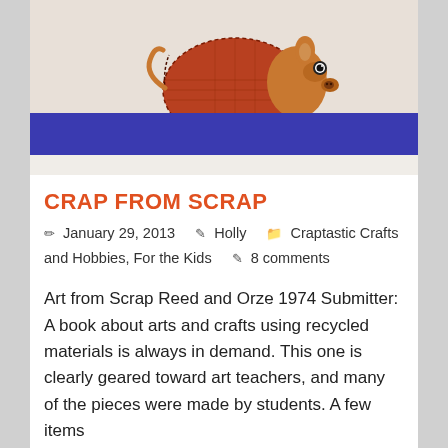[Figure (photo): A craft animal sculpture made from a spool/cylinder covered in red/brown fabric, with brown legs and a cartoonish face with button eyes and a snout, set against a light background with a blue bar at the bottom.]
CRAP FROM SCRAP
January 29, 2013   Holly   Craptastic Crafts and Hobbies, For the Kids   8 comments
Art from Scrap Reed and Orze 1974 Submitter: A book about arts and crafts using recycled materials is always in demand. This one is clearly geared toward art teachers, and many of the pieces were made by students. A few items